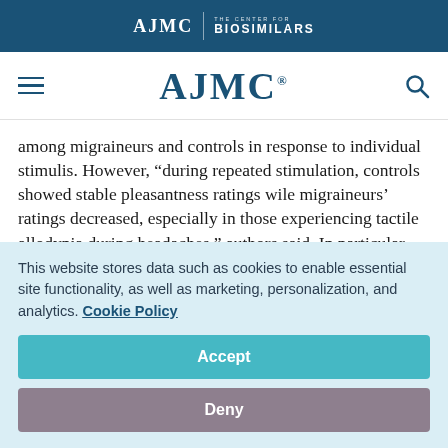AJMC | THE CENTER FOR BIOSIMILARS
AJMC
among migraineurs and controls in response to individual stimulis. However, “during repeated stimulation, controls showed stable pleasantness ratings wile migraineurs’ ratings decreased, especially in those experiencing tactile allodynia during headaches,” authors said. In particular, migraineurs’
This website stores data such as cookies to enable essential site functionality, as well as marketing, personalization, and analytics. Cookie Policy
Accept
Deny